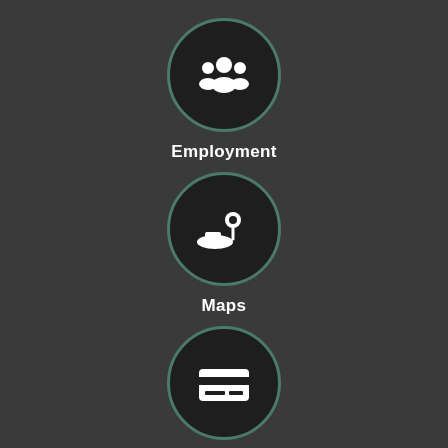[Figure (infographic): Dark circular icon with a group of people (employment/HR) silhouette in white, with teal border]
Employment
[Figure (infographic): Dark circular icon with a map pin and landscape silhouette in white, with teal border]
Maps
[Figure (infographic): Dark circular icon with a credit card icon in white, with teal border]
Pay a Bill